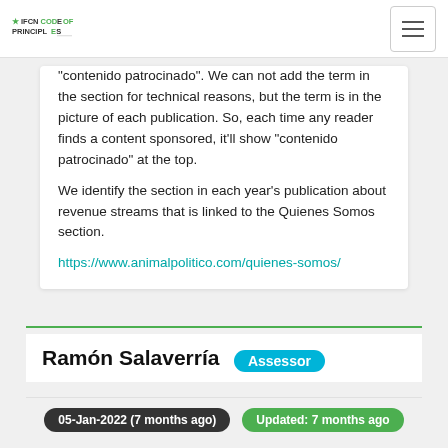IFCN Code of Principles
"contenido patrocinado". We can not add the term in the section for technical reasons, but the term is in the picture of each publication. So, each time any reader finds a content sponsored, it'll show "contenido patrocinado" at the top.

We identify the section in each year's publication about revenue streams that is linked to the Quienes Somos section.

https://www.animalpolitico.com/quienes-somos/
Ramón Salaverría  Assessor
05-Jan-2022 (7 months ago)   Updated: 7 months ago